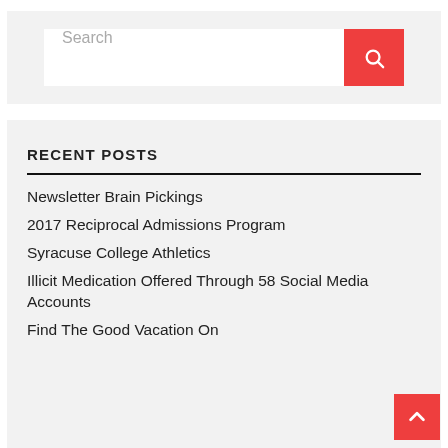[Figure (screenshot): Search bar with white input field showing placeholder text 'Search' and a red button with a magnifying glass icon]
RECENT POSTS
Newsletter Brain Pickings
2017 Reciprocal Admissions Program
Syracuse College Athletics
Illicit Medication Offered Through 58 Social Media Accounts
Find The Good Vacation On